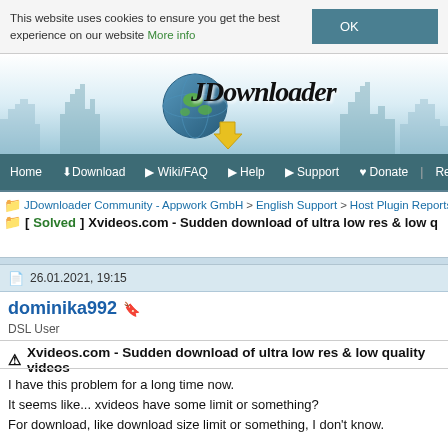This website uses cookies to ensure you get the best experience on our website More info  OK
[Figure (logo): JDownloader website header banner with skyline silhouette and JDownloader logo with globe icon]
Home | Download | Wiki/FAQ | Help | Support | Donate | Register | Today
JDownloader Community - Appwork GmbH > English Support > Host Plugin Reports
[Solved] Xvideos.com - Sudden download of ultra low res & low q
Post Reply
26.01.2021, 19:15
dominika992
DSL User
Xvideos.com - Sudden download of ultra low res & low quality videos
I have this problem for a long time now.
It seems like... xvideos have some limit or something?
For download, like download size limit or something, I don't know.